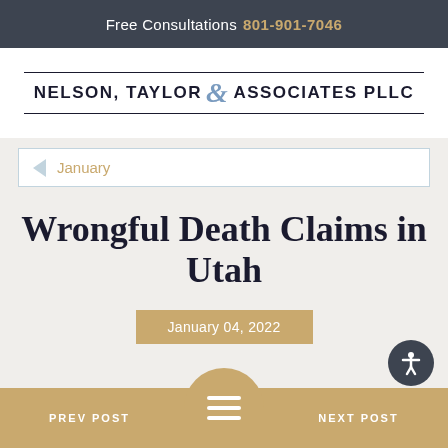Free Consultations 801-901-7046
[Figure (logo): Nelson, Taylor & Associates PLLC law firm logo with stylized ampersand]
January
Wrongful Death Claims in Utah
January 04, 2022
PREV POST | NEXT POST